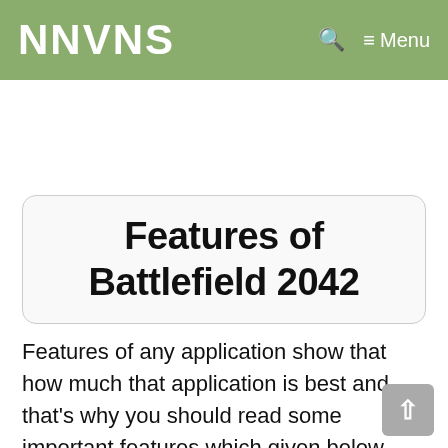NNVNS   🔍   ≡ Menu
Features of Battlefield 2042
Features of any application show that how much that application is best and that's why you should read some important features which given below.